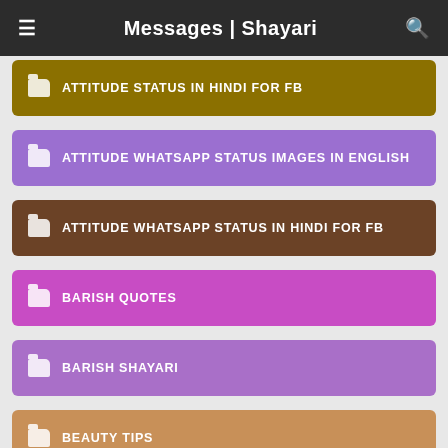Messages | Shayari
ATTITUDE STATUS IN HINDI FOR FB
ATTITUDE WHATSAPP STATUS IMAGES IN ENGLISH
ATTITUDE WHATSAPP STATUS IN HINDI FOR FB
BARISH QUOTES
BARISH SHAYARI
BEAUTY TIPS
BEST ATTITUDE STATUS